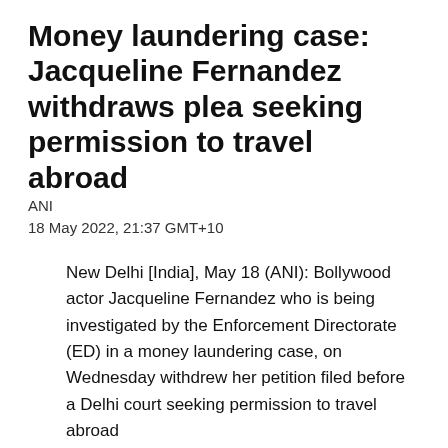Money laundering case: Jacqueline Fernandez withdraws plea seeking permission to travel abroad
ANI
18 May 2022, 21:37 GMT+10
New Delhi [India], May 18 (ANI): Bollywood actor Jacqueline Fernandez who is being investigated by the Enforcement Directorate (ED) in a money laundering case, on Wednesday withdrew her petition filed before a Delhi court seeking permission to travel abroad